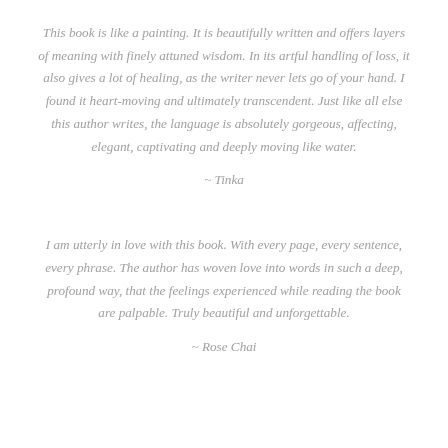This book is like a painting. It is beautifully written and offers layers of meaning with finely attuned wisdom. In its artful handling of loss, it also gives a lot of healing, as the writer never lets go of your hand. I found it heart-moving and ultimately transcendent. Just like all else this author writes, the language is absolutely gorgeous, affecting, elegant, captivating and deeply moving like water.
~ Tinka
I am utterly in love with this book. With every page, every sentence, every phrase. The author has woven love into words in such a deep, profound way, that the feelings experienced while reading the book are palpable. Truly beautiful and unforgettable.
~ Rose Chai